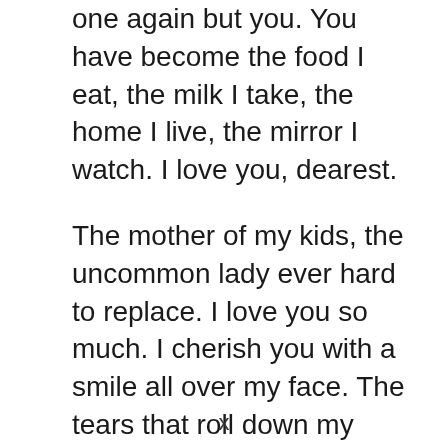one again but you. You have become the food I eat, the milk I take, the home I live, the mirror I watch. I love you, dearest.
The mother of my kids, the uncommon lady ever hard to replace. I love you so much. I cherish you with a smile all over my face. The tears that roll down my chicks is not for sorrow but a tear of joy that I found you, my love.
No woman is as special as you are to me, my angel. You may not know how
x